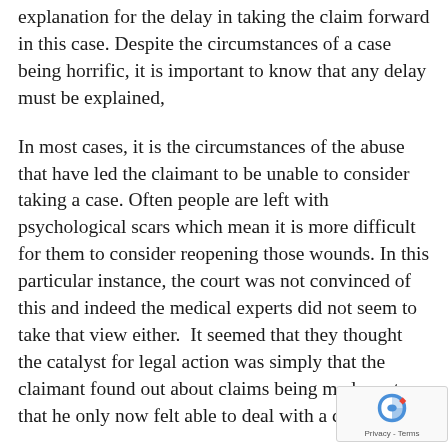explanation for the delay in taking the claim forward in this case. Despite the circumstances of a case being horrific, it is important to know that any delay must be explained,
In most cases, it is the circumstances of the abuse that have led the claimant to be unable to consider taking a case. Often people are left with psychological scars which mean it is more difficult for them to consider reopening those wounds. In this particular instance, the court was not convinced of this and indeed the medical experts did not seem to take that view either.  It seemed that they thought the catalyst for legal action was simply that the claimant found out about claims being made, not that he only now felt able to deal with a claim.
The time limit for a negligence claim is three y... and the time limit for an assault claim is six.  F... the vast majority of cases, the perpetrator who...